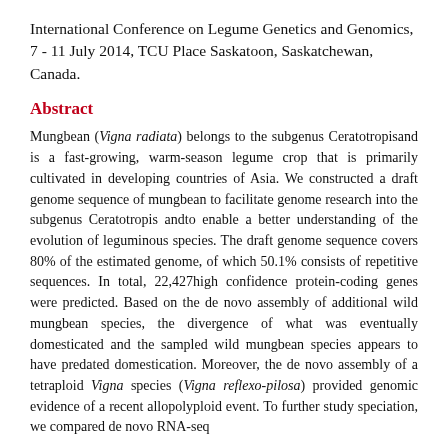International Conference on Legume Genetics and Genomics, 7 - 11 July 2014, TCU Place Saskatoon, Saskatchewan, Canada.
Abstract
Mungbean (Vigna radiata) belongs to the subgenus Ceratotropisand is a fast-growing, warm-season legume crop that is primarily cultivated in developing countries of Asia. We constructed a draft genome sequence of mungbean to facilitate genome research into the subgenus Ceratotropis andto enable a better understanding of the evolution of leguminous species. The draft genome sequence covers 80% of the estimated genome, of which 50.1% consists of repetitive sequences. In total, 22,427high confidence protein-coding genes were predicted. Based on the de novo assembly of additional wild mungbean species, the divergence of what was eventually domesticated and the sampled wild mungbean species appears to have predated domestication. Moreover, the de novo assembly of a tetraploid Vigna species (Vigna reflexo-pilosa) provided genomic evidence of a recent allopolyploid event. To further study speciation, we compared de novo RNA-seq